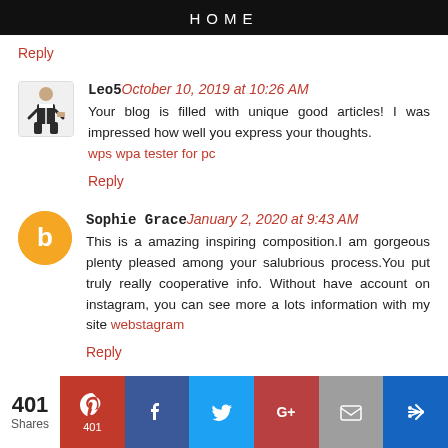HOME
Reply
Leo5  October 10, 2019 at 10:26 AM
Your blog is filled with unique good articles! I was impressed how well you express your thoughts. wps wpa tester for pc
Reply
Sophie Grace  January 2, 2020 at 9:43 AM
This is a amazing inspiring composition.I am gorgeous plenty pleased among your salubrious process.You put truly really cooperative info. Without have account on instagram, you can see more a lots information with my site webstagram
Reply
401 Shares